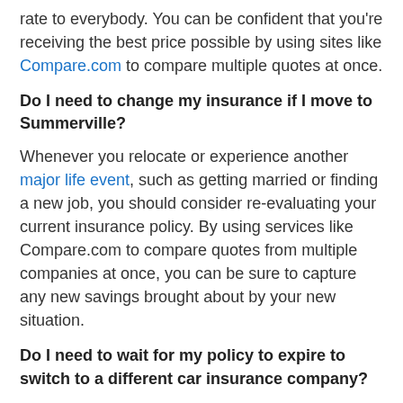rate to everybody. You can be confident that you're receiving the best price possible by using sites like Compare.com to compare multiple quotes at once.
Do I need to change my insurance if I move to Summerville?
Whenever you relocate or experience another major life event, such as getting married or finding a new job, you should consider re-evaluating your current insurance policy. By using services like Compare.com to compare quotes from multiple companies at once, you can be sure to capture any new savings brought about by your new situation.
Do I need to wait for my policy to expire to switch to a different car insurance company?
No. Regardless of how much time is left on your current policy, you can switch companies at any time. So, whether you're considering moving to